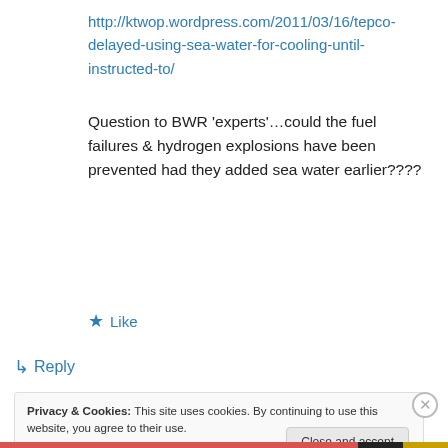http://ktwop.wordpress.com/2011/03/16/tepco-delayed-using-sea-water-for-cooling-until-instructed-to/
Question to BWR 'experts'…could the fuel failures & hydrogen explosions have been prevented had they added sea water earlier????
★ Like
↳ Reply
Privacy & Cookies: This site uses cookies. By continuing to use this website, you agree to their use.
To find out more, including how to control cookies, see here: Cookie Policy
Close and accept